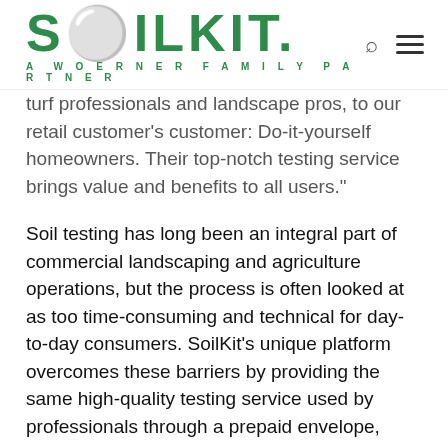SOILKIT. A WOERNER FAMILY PARTNER
turf professionals and landscape pros, to our retail customer's customer: Do-it-yourself homeowners. Their top-notch testing service brings value and benefits to all users."
Soil testing has long been an integral part of commercial landscaping and agriculture operations, but the process is often looked at as too time-consuming and technical for day-to-day consumers. SoilKit's unique platform overcomes these barriers by providing the same high-quality testing service used by professionals through a prepaid envelope, followed by an easy-to-digest results page and personalized soil amendment